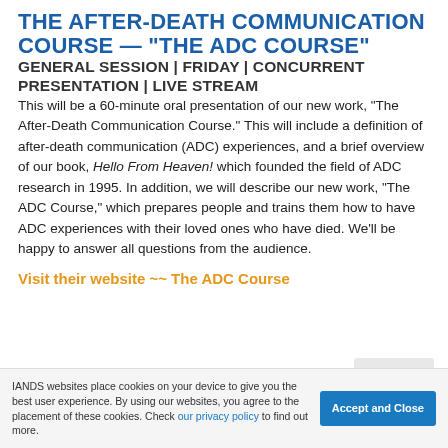THE AFTER-DEATH COMMUNICATION COURSE — "THE ADC COURSE"
GENERAL SESSION | FRIDAY | CONCURRENT PRESENTATION | LIVE STREAM
This will be a 60-minute oral presentation of our new work, "The After-Death Communication Course." This will include a definition of after-death communication (ADC) experiences, and a brief overview of our book, Hello From Heaven! which founded the field of ADC research in 1995. In addition, we will describe our new work, "The ADC Course," which prepares people and trains them how to have ADC experiences with their loved ones who have died. We'll be happy to answer all questions from the audience.
Visit their website ~~ The ADC Course
IANDS websites place cookies on your device to give you the best user experience. By using our websites, you agree to the placement of these cookies. Check our privacy policy to find out more.